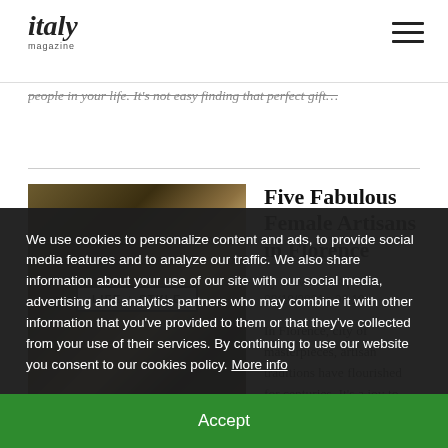italy magazine
people in your life. It's not easy finding that perfect gift…
[Figure (photo): A woman painting or drawing, viewed in profile, holding a brush or pencil, with a blurred artwork in the background. Warm golden and brown tones.]
LIFE + STYLE
Five Fabulous Female Artisans in Florence
by suzvanallen | Wed, 08/18/2021 - 08:19
In Florence, city of masterpieces, artisan traditions have flourished for centuries. It's a joy to discover the abundance of homegrown talent here...
We use cookies to personalize content and ads, to provide social media features and to analyze our traffic. We also share information about your use of our site with our social media, advertising and analytics partners who may combine it with other information that you've provided to them or that they've collected from your use of their services. By continuing to use our website you consent to our cookies policy. More info
Accept